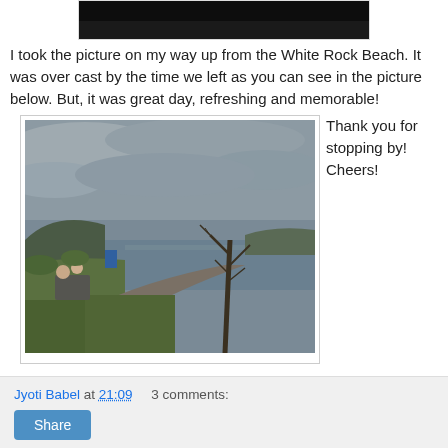[Figure (photo): Partial top of a dark nighttime/evening photo, cropped at top of page]
I took the picture on my way up from the White Rock Beach. It was over cast by the time we left as you can see in the picture below. But, it was great day, refreshing and memorable!
[Figure (photo): Overcast beach scene at White Rock Beach showing a path, grass, a bare tree, people sitting on bench, and the ocean under grey cloudy sky]
Thank you for stopping by! Cheers!
Jyoti Babel at 21:09    3 comments:
Share